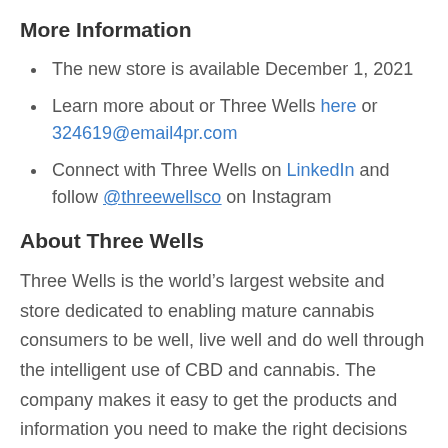More Information
The new store is available December 1, 2021
Learn more about or Three Wells here or 324619@email4pr.com
Connect with Three Wells on LinkedIn and follow @threewellsco on Instagram
About Three Wells
Three Wells is the world’s largest website and store dedicated to enabling mature cannabis consumers to be well, live well and do well through the intelligent use of CBD and cannabis. The company makes it easy to get the products and information you need to make the right decisions for your personal needs. All